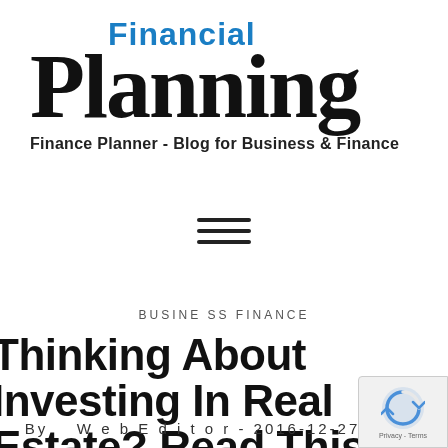Financial Planning
Finance Planner - Blog for Business & Finance
[Figure (other): Hamburger menu icon with three horizontal lines]
BUSINESS FINANCE
Thinking About Investing In Real Estate? Read This
By  WebEditor - 2016-12-27 - 19